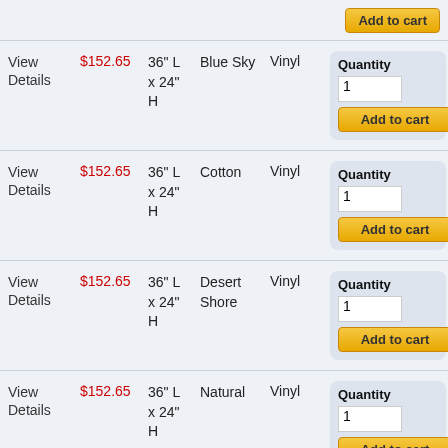View Details | $152.65 | 36" L x 24" H | Blue Sky | Vinyl | Quantity 1 | Add to cart
View Details | $152.65 | 36" L x 24" H | Cotton | Vinyl | Quantity 1 | Add to cart
View Details | $152.65 | 36" L x 24" H | Desert Shore | Vinyl | Quantity 1 | Add to cart
View Details | $152.65 | 36" L x 24" H | Natural | Vinyl | Quantity 1 | Add to cart
View Details | $152.65 | 36" L x 24" H | Pebble Beach | Vinyl | Quantity